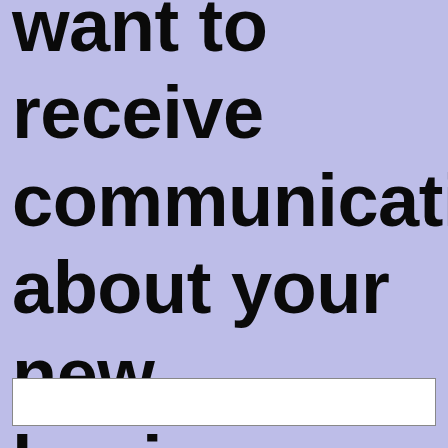want to receive communications about your new business.
[Figure (other): White rectangular input/text field box at the bottom of the page]